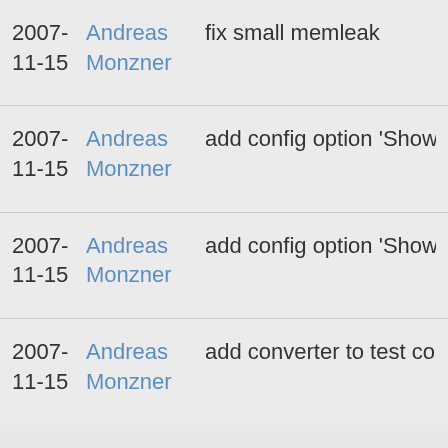2007-11-15  Andreas Monzner  fix small memleak
2007-11-15  Andreas Monzner  add config option 'Show blinking clock in disp
2007-11-15  Andreas Monzner  add config option 'Show blinking clock in disp
2007-11-15  Andreas Monzner  add converter to test config entrie values